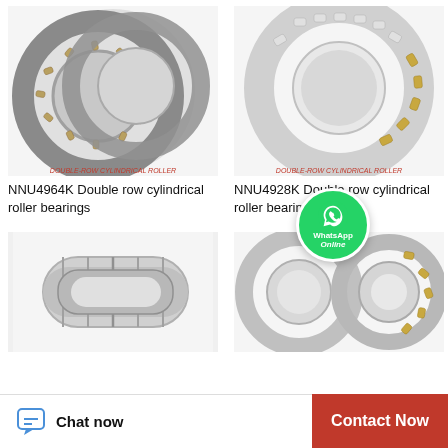[Figure (photo): NNU4964K double row cylindrical roller bearing - two rings shown, metallic/gold color with visible rollers]
NNU4964K Double row cylindrical roller bearings
[Figure (photo): NNU4928K double row cylindrical roller bearing - single bearing shown from angle, silver/chrome color]
NNU4928K Double row cylindrical roller bearings
[Figure (photo): Double row cylindrical roller bearing - side view showing multiple rows, silver/steel color]
[Figure (photo): Double row cylindrical roller bearing - two pieces shown, silver and gold color rollers]
[Figure (photo): WhatsApp Online chat badge - green circle with phone icon, WhatsApp Online text]
Chat now
Contact Now